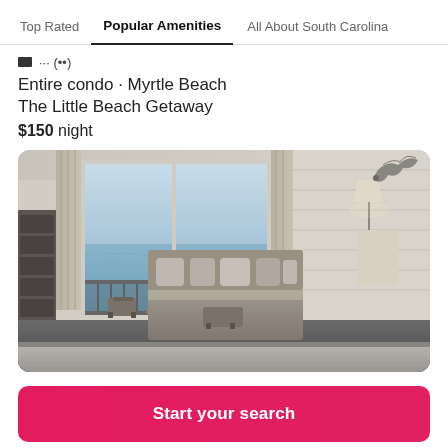Top Rated | Popular Amenities | All About South Carolina
Entire condo · Myrtle Beach
The Little Beach Getaway
$150 night
[Figure (photo): Interior of a beach condo showing a living area with sofa and pillows, a balcony with ocean view through large sliding glass doors, and a lamp on the right side. Gray/neutral tones throughout.]
Start your search